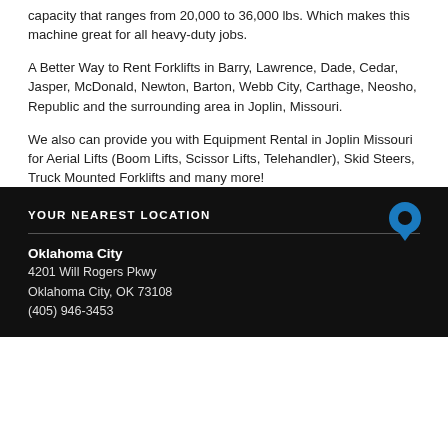capacity that ranges from 20,000 to 36,000 lbs. Which makes this machine great for all heavy-duty jobs.
A Better Way to Rent Forklifts in Barry, Lawrence, Dade, Cedar, Jasper, McDonald, Newton, Barton, Webb City, Carthage, Neosho, Republic and the surrounding area in Joplin, Missouri.
We also can provide you with Equipment Rental in Joplin Missouri for Aerial Lifts (Boom Lifts, Scissor Lifts, Telehandler), Skid Steers, Truck Mounted Forklifts and many more!
YOUR NEAREST LOCATION
Oklahoma City
4201 Will Rogers Pkwy
Oklahoma City, OK 73108
(405) 946-3453